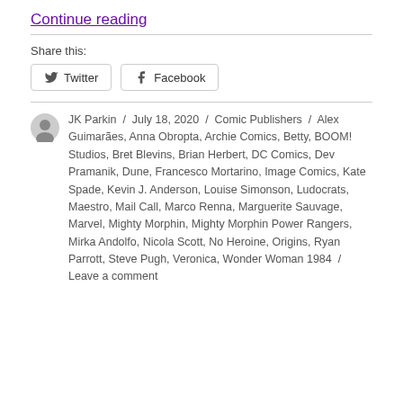Continue reading
Share this:
Twitter
Facebook
JK Parkin / July 18, 2020 / Comic Publishers / Alex Guimarães, Anna Obropta, Archie Comics, Betty, BOOM! Studios, Bret Blevins, Brian Herbert, DC Comics, Dev Pramanik, Dune, Francesco Mortarino, Image Comics, Kate Spade, Kevin J. Anderson, Louise Simonson, Ludocrats, Maestro, Mail Call, Marco Renna, Marguerite Sauvage, Marvel, Mighty Morphin, Mighty Morphin Power Rangers, Mirka Andolfo, Nicola Scott, No Heroine, Origins, Ryan Parrott, Steve Pugh, Veronica, Wonder Woman 1984 / Leave a comment